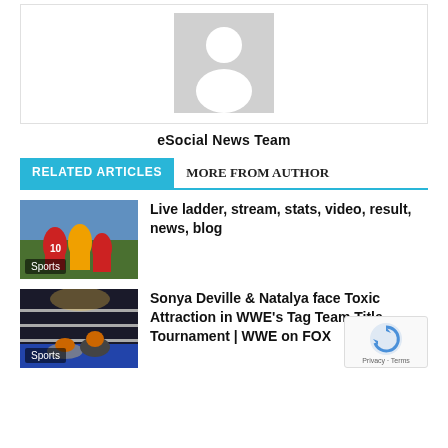[Figure (illustration): Author avatar placeholder — grey square with a white silhouette of a person (head and shoulders)]
eSocial News Team
RELATED ARTICLES   MORE FROM AUTHOR
[Figure (photo): Sports action photo showing football/AFL players in a match]
Sports
Live ladder, stream, stats, video, result, news, blog
[Figure (photo): WWE wrestling match photo showing wrestlers on the canvas]
Sports
Sonya Deville & Natalya face Toxic Attraction in WWE's Tag Team Title Tournament | WWE on FOX